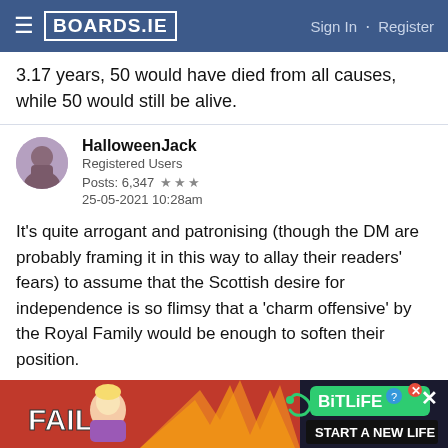BOARDS.IE  Sign In · Register
3.17 years, 50 would have died from all causes, while 50 would still be alive.
HhalloweenJack
Registered Users
Posts: 6,347 ★★★
25-05-2021 10:28am
It's quite arrogant and patronising (though the DM are probably framing it in this way to allay their readers' fears) to assume that the Scottish desire for independence is so flimsy that a 'charm offensive' by the Royal Family would be enough to soften their position.
Surely DM readers are the last bastion of society that
[Figure (screenshot): Advertisement banner for BitLife game — red background with 'FAIL' text, cartoon character, flames, and 'START A NEW LIFE' text with BitLife logo]